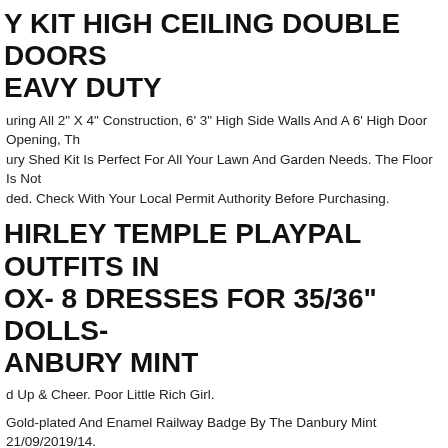Y KIT HIGH CEILING DOUBLE DOORS EAVY DUTY
uring All 2" X 4" Construction, 6' 3" High Side Walls And A 6' High Door Opening, Th ury Shed Kit Is Perfect For All Your Lawn And Garden Needs. The Floor Is Not ded. Check With Your Local Permit Authority Before Purchasing.
HIRLEY TEMPLE PLAYPAL OUTFITS IN OX- 8 DRESSES FOR 35/36" DOLLS- ANBURY MINT
d Up & Cheer. Poor Little Rich Girl.
Gold-plated And Enamel Railway Badge By The Danbury Mint 21/09/2019/14.
anity Cabinet Danbury Blue + Wheat Granite Top + Lb5b Faucet. Danbury Blue ready-to-assemble) Vanity Cabinet. 34 In Thick Natural Wheat Granite Stone. Nat te Stone. Granite Sealing Is Required Once A Year. Granite Is A Natural Material, efore, Actual Color May Slightly Vary From Model To Model.